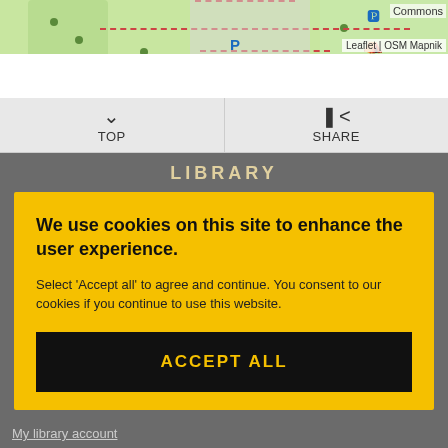[Figure (map): OpenStreetMap tile showing a park/commons area with green space, dashed red paths, parking icons, bicycle parking, and a picnic table icon. Attribution reads 'Leaflet | OSM Mapnik'.]
TOP
SHARE
LIBRARY
We use cookies on this site to enhance the user experience.
Select 'Accept all' to agree and continue. You consent to our cookies if you continue to use this website.
ACCEPT ALL
My library account